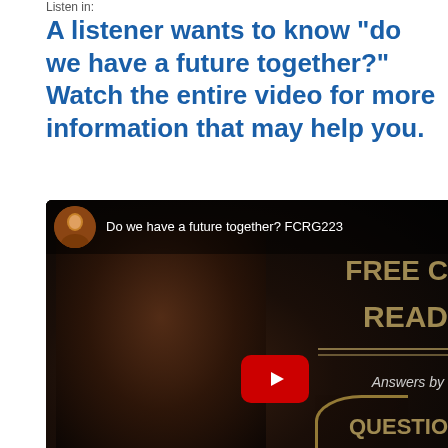Listen in:
A listener wants to know “do we have a future together?” Watch the entire video for more information that may help you.
[Figure (screenshot): YouTube video thumbnail showing a woman in colorful patterned clothing against a dark background. Video title reads 'Do we have a future together? FCRG223'. Right side shows partial overlay text 'FREE', 'READ', 'Answers by', 'QUESTIO'. A red YouTube play button is visible in the center.]